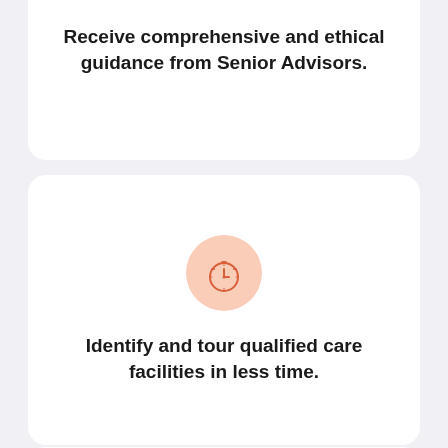Receive comprehensive and ethical guidance from Senior Advisors.
[Figure (illustration): Stopwatch/timer icon in orange on a light peach circular background]
Identify and tour qualified care facilities in less time.
[Figure (illustration): Thumbs up icon in orange on a light peach circular background]